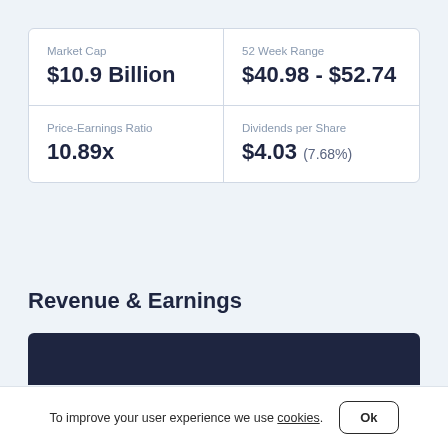| Metric | Value |
| --- | --- |
| Market Cap | $10.9 Billion |
| 52 Week Range | $40.98 - $52.74 |
| Price-Earnings Ratio | 10.89x |
| Dividends per Share | $4.03 (7.68%) |
Revenue & Earnings
To improve your user experience we use cookies.